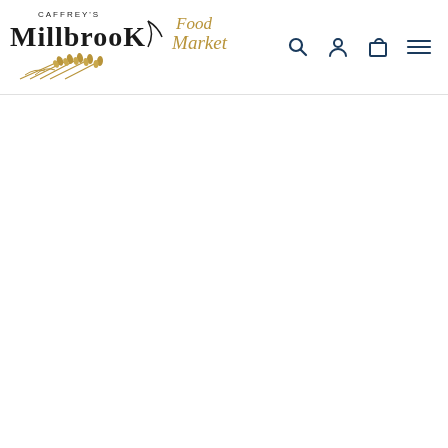[Figure (logo): Caffrey's Millbrook Food Market logo with wheat graphic, black serif text for CAFFREY'S MILLBROOK, gold italic script for Food Market, and decorative wheat stalks]
[Figure (other): Navigation icons: search (magnifying glass), account (person silhouette), cart (shopping bag), and hamburger menu — all in dark navy blue]